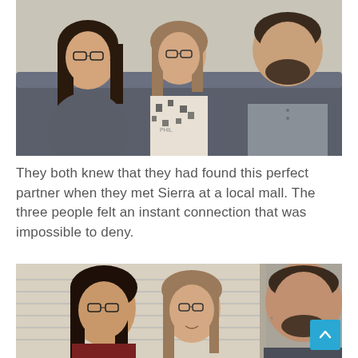[Figure (photo): Three people sitting on a gray couch: a woman with long dark hair and glasses on the left, a woman with shorter hair and glasses in the center wearing a patterned dress, and a bearded man on the right wearing a gray shirt.]
They both knew that they had found this perfect partner when they met Sierra at a local mall. The three people felt an instant connection that was impossible to deny.
[Figure (photo): Same three people in a different shot: the two women in the foreground and the man visible on the right side, appearing to be in conversation.]